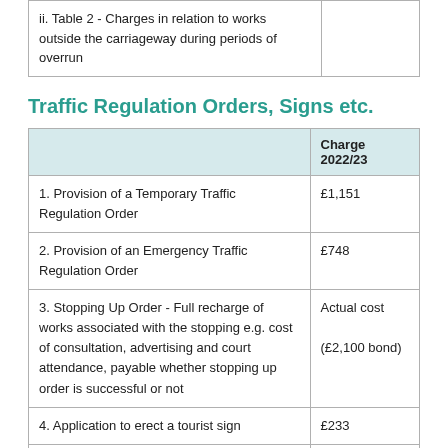|  |  |
| --- | --- |
| ii. Table 2 - Charges in relation to works outside the carriageway during periods of overrun |  |
Traffic Regulation Orders, Signs etc.
|  | Charge 2022/23 |
| --- | --- |
| 1. Provision of a Temporary Traffic Regulation Order | £1,151 |
| 2. Provision of an Emergency Traffic Regulation Order | £748 |
| 3. Stopping Up Order - Full recharge of works associated with the stopping e.g. cost of consultation, advertising and court attendance, payable whether stopping up order is successful or not | Actual cost
(£2,100 bond) |
| 4. Application to erect a tourist sign | £233 |
| 5. Application to erect a developers sign | £233 |
| 6. Authorised provision for non-commercial use; maps, | £50 |